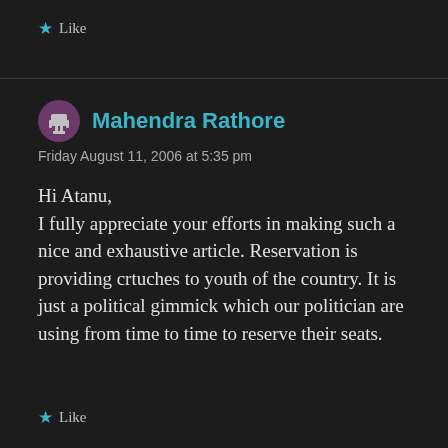★ Like
Mahendra Rathore
Friday August 11, 2006 at 5:35 pm
Hi Atanu,
I fully appreciate your efforts in making such a nice and exhaustive article. Reservation is providing crtuches to youth of the country. It is just a political gimmick which our politician are using from time to time to reserve their seats.
★ Like